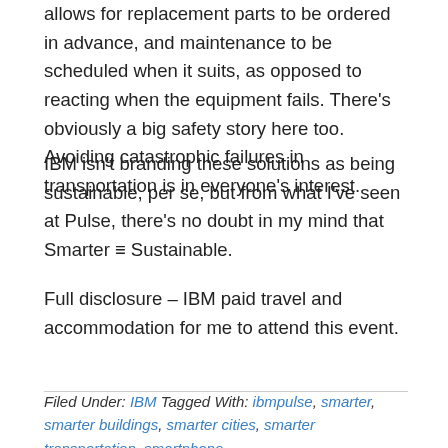allows for replacement parts to be ordered in advance, and maintenance to be scheduled when it suits, as opposed to reacting when the equipment fails. There's obviously a big safety story here too. Avoiding catastrophic failures in transportation is in everyone's interest.
IBM isn't branding these solutions as being sustainable, per se, but from what I've seen at Pulse, there's no doubt in my mind that Smarter ≡ Sustainable.
Full disclosure – IBM paid travel and accommodation for me to attend this event.
Filed Under: IBM Tagged With: ibmpulse, smarter, smarter buildings, smarter cities, smarter transportation, smartphone,